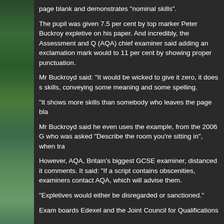page blank and demonstrates "nominal skills".
The pupil was given 7.5 per cent by top marker Peter Buckroy... expletive on his paper. And incredibly, the Assessment and Q... (AQA) chief examiner said adding an exclamation mark would... to 11 per cent by showing proper punctuation.
Mr Buckroyd said: "It would be wicked to give it zero, it does s... skills, conveying some meaning and some spelling.
"It shows more skills than somebody who leaves the page bla...
Mr Buckroyd said he even uses the example, from the 2006 G... who was asked "Describe the room you're sitting in", when tra...
However, AQA, Britain's biggest GCSE examiner, distanced it... comments. It said: "If a script contains obscenities, examiners... contact AQA, which will advise them.
"Expletives would either be disregarded or sanctioned."
Exam boards Edexel and the Joint Council for Qualifications...